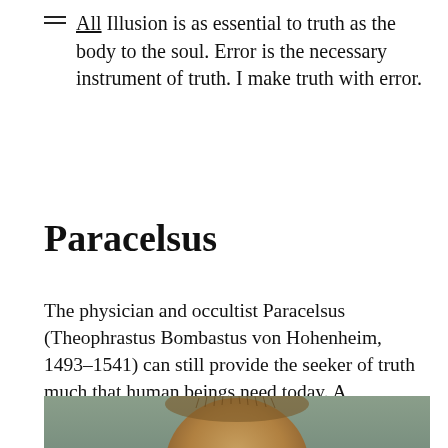All Illusion is as essential to truth as the body to the soul. Error is the necessary instrument of truth. I make truth with error.
Paracelsus
The physician and occultist Paracelsus (Theophrastus Bombastus von Hohenheim, 1493–1541) can still provide the seeker of truth much that human beings need today. A movement for spiritual investigation like Theosophy (spiritual science) is particularly suitable to unearth the treasures, the spirit of knowledge, the investigative tools, and the enlightenment of nature which is hidden with Paracelsus.
[Figure (photo): Partial photograph of a portrait of Paracelsus, showing the top of a head with short brown hair against a grey-green background, cropped at the bottom edge of the page.]